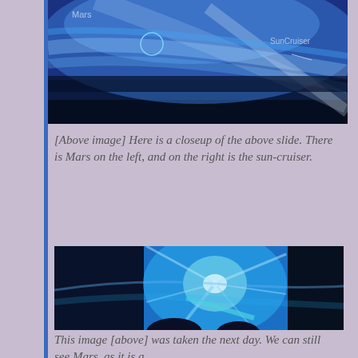[Figure (photo): A blue-tinted space image showing Mars labeled on the left and SunCruiser labeled on the right, with bright blue solar wind or corona streaks.]
[Above image] Here is a closeup of the above slide. There is Mars on the left, and on the right is the sun-cruiser.
[Figure (photo): A blue-tinted space image showing a bright central object with streaking lines radiating outward, representing the sun-cruiser near Mars. Two dark silhouettes visible at the bottom.]
This image [above] was taken the next day. We can still see Mars, as it is a